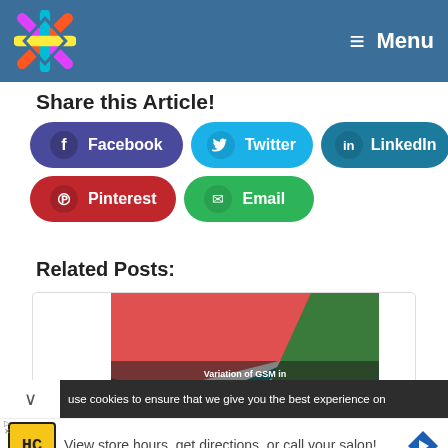Menu
Share this Article!
[Figure (infographic): Social share buttons: Facebook (purple), Twitter (cyan), LinkedIn (dark teal), Pinterest (red), Email (green)]
Related Posts:
[Figure (photo): Variation of GSM in Different Processing Stages of Dyeing & Finishing - colorful fabric swatches image]
use cookies to ensure that we give you the best experience on
View store hours, get directions, or call your salon!